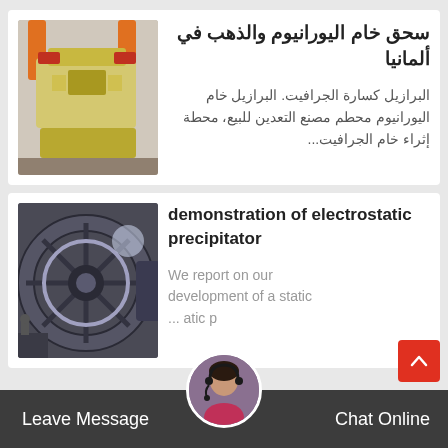[Figure (photo): Industrial heavy machinery with orange crane hooks and yellow equipment]
سحق خام اليورانيوم والذهب في ألمانيا
البرازيل كسارة الجرافيت. البرازيل خام اليورانيوم محطم مصنع التعدين للبيع، محطة إثراء خام الجرافيت...
[Figure (photo): Large industrial ball mill machine in a factory setting]
demonstration of electrostatic precipitator
We report on our development of a static ... atic p